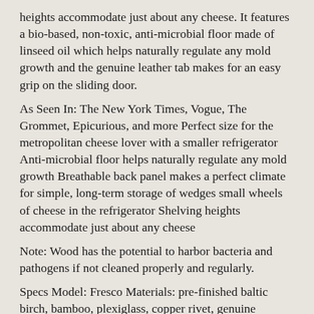heights accommodate just about any cheese. It features a bio-based, non-toxic, anti-microbial floor made of linseed oil which helps naturally regulate any mold growth and the genuine leather tab makes for an easy grip on the sliding door.
As Seen In: The New York Times, Vogue, The Grommet, Epicurious, and more Perfect size for the metropolitan cheese lover with a smaller refrigerator Anti-microbial floor helps naturally regulate any mold growth Breathable back panel makes a perfect climate for simple, long-term storage of wedges small wheels of cheese in the refrigerator Shelving heights accommodate just about any cheese
Note: Wood has the potential to harbor bacteria and pathogens if not cleaned properly and regularly.
Specs Model: Fresco Materials: pre-finished baltic birch, bamboo, plexiglass, copper rivet, genuine leather, marmoleum (eco-friendly linoleum), clay brick